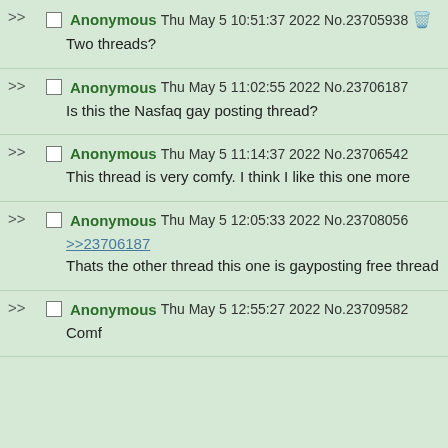Anonymous Thu May 5 10:51:37 2022 No.23705938
Two threads?
Anonymous Thu May 5 11:02:55 2022 No.23706187
Is this the Nasfaq gay posting thread?
Anonymous Thu May 5 11:14:37 2022 No.23706542
This thread is very comfy. I think I like this one more
Anonymous Thu May 5 12:05:33 2022 No.23708056
>>23706187
Thats the other thread this one is gayposting free thread
Anonymous Thu May 5 12:55:27 2022 No.23709582
Comf